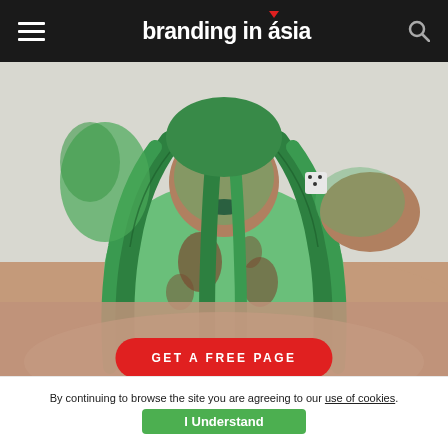branding in asia
[Figure (photo): Woman with green braided hair and green body paint wearing a green patterned outfit, photographed from above at close range]
GET A FREE PAGE
By continuing to browse the site you are agreeing to our use of cookies.
I Understand